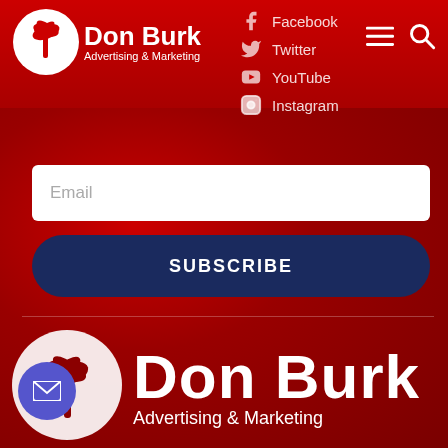[Figure (logo): Don Burk Advertising & Marketing logo - white circle with palm tree, top header]
Don Burk Advertising & Marketing
Facebook
Twitter
YouTube
Instagram
Email
SUBSCRIBE
[Figure (logo): Don Burk Advertising & Marketing large logo - white circle with dark palm tree silhouette, bottom section with large white text]
[Figure (illustration): Purple circular mail/envelope button on bottom left]